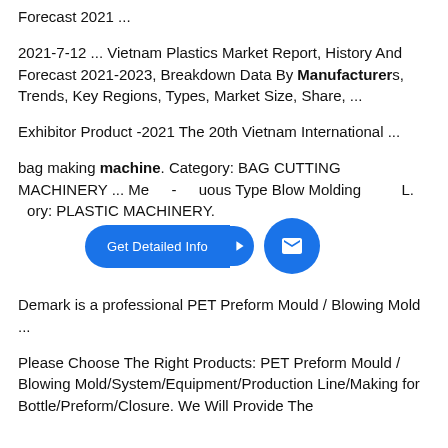Forecast 2021 ...
2021-7-12 ... Vietnam Plastics Market Report, History And Forecast 2021-2023, Breakdown Data By Manufacturers, Trends, Key Regions, Types, Market Size, Share, ...
Exhibitor Product -2021 The 20th Vietnam International ...
bag making machine. Category: BAG CUTTING MACHINERY ... Me[obscured] - [obscured]uous Type Blow Molding [obscured]L. [obscured]ory: PLASTIC MACHINERY.
[Figure (screenshot): Blue rounded button labeled 'Get Detailed Info' with arrow, and a blue circular email icon button]
Demark is a professional PET Preform Mould / Blowing Mold ...
Please Choose The Right Products: PET Preform Mould / Blowing Mold/System/Equipment/Production Line/Making for Bottle/Preform/Closure. We Will Provide The